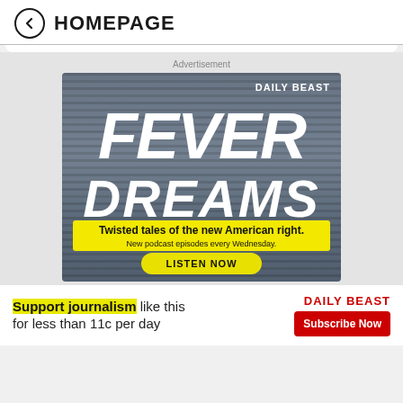← HOMEPAGE
Advertisement
[Figure (illustration): Daily Beast 'Fever Dreams' podcast advertisement banner. TV static noise background with horizontal scan lines. 'DAILY BEAST' logo top right in white. Large bold italic white text 'FEVER DREAMS'. Yellow highlighted band reading 'Twisted tales of the new American right. New podcast episodes every Wednesday.' Yellow oval button 'LISTEN NOW'.]
Support journalism like this for less than 11c per day
DAILY BEAST
Subscribe Now